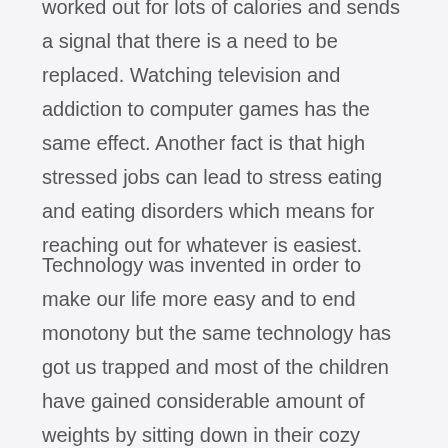worked out for lots of calories and sends a signal that there is a need to be replaced. Watching television and addiction to computer games has the same effect. Another fact is that high stressed jobs can lead to stress eating and eating disorders which means for reaching out for whatever is easiest.
Technology was invented in order to make our life more easy and to end monotony but the same technology has got us trapped and most of the children have gained considerable amount of weights by sitting down in their cozy couches and by sticking their eyeballs to the television sets, video games without any physical exercise which doesn't let their